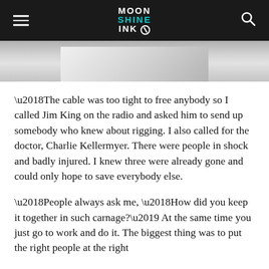MOON SHINE INK
[Figure (photo): Black and white photo, partially visible, showing a person in light clothing]
'The cable was too tight to free anybody so I called Jim King on the radio and asked him to send up somebody who knew about rigging. I also called for the doctor, Charlie Kellermyer. There were people in shock and badly injured. I knew three were already gone and could only hope to save everybody else.
'People always ask me, 'How did you keep it together in such carnage?' At the same time you just go to work and do it. The biggest thing was to put the right people at the right